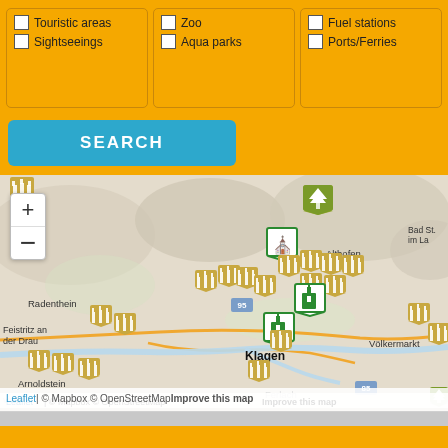Touristic areas
Sightseeings
Zoo
Aqua parks
Fuel stations
Ports/Ferries
SEARCH
[Figure (map): Interactive map showing region around Klagenfurt, Austria, with castle and church markers, place names including Radenthein, Feistritz an der Drau, Arnoldstein, Althofen, Völkermarkt, Ferlach, Klagen (Klagenfurt), road markers 95 and 85.]
Leaflet | © Mapbox © OpenStreetMap Improve this map